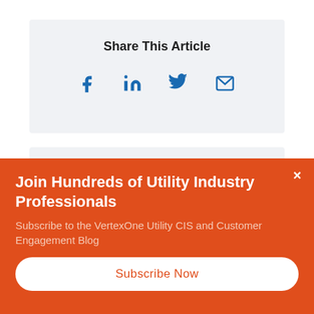Share This Article
[Figure (infographic): Social share icons: Facebook, LinkedIn, Twitter, Email]
Subscribe to our Blog
Join Hundreds of Utility Industry Professionals
Subscribe to the VertexOne Utility CIS and Customer Engagement Blog
Subscribe Now